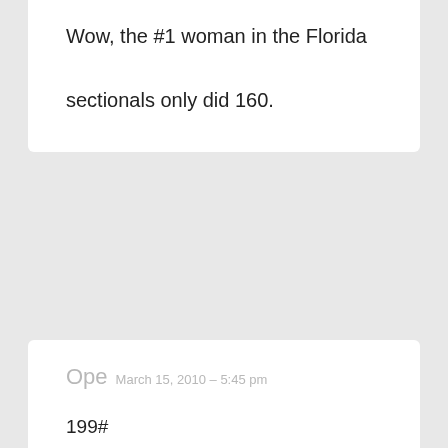Wow, the #1 woman in the Florida sectionals only did 160.
Ope  March 15, 2010 – 5:45 pm

199#

65, 42, 13 = 120

REPLY
Reina